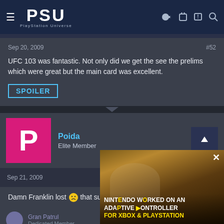PSU - PlayStation Universe
Sep 20, 2009   #52
UFC 103 was fantastic. Not only did we get the see the prelims which were great but the main card was excellent.
SPOILER
Poida
Elite Member
Sep 21, 2009   #53
Damn Franklin lost 😟 that sucks.
[Figure (screenshot): Video ad overlay: Nintendo worked on an adaptive controller for Xbox & PlayStation, showing a man in suit with text overlay]
Gran Patrul
Dedicated Member